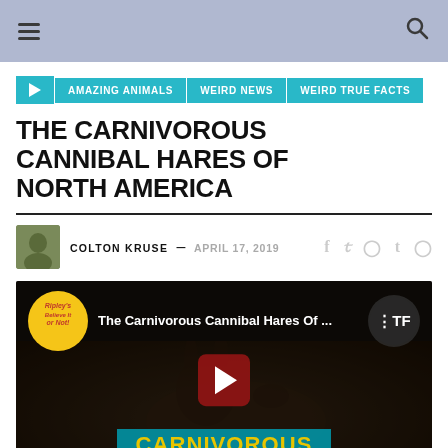Navigation bar with hamburger menu and search icon
AMAZING ANIMALS
WEIRD NEWS
WEIRD TRUE FACTS
THE CARNIVOROUS CANNIBAL HARES OF NORTH AMERICA
COLTON KRUSE — APRIL 17, 2019
[Figure (screenshot): YouTube video thumbnail for 'The Carnivorous Cannibal Hares Of...' with Ripley's Believe It or Not badge, ITF logo, red play button, and 'CARNIVOROUS' text overlay on dark background with hare image]